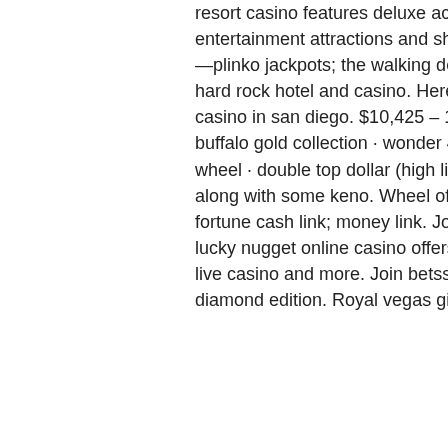resort casino features deluxe accommodations, fine dining, a wide variety of entertainment attractions and shopping. Sphinx 3-d; stinkin' rich; the price is right—plinko jackpots; the walking dead. And instagram as slothopperchic video filmed: hard rock hotel and casino. Here are just a few of the many jackpots at barona casino in san diego. $10,425 – 10 cent lightning cash-sahara gold, april 3. Buffalo · buffalo gold collection · wonder 4 boost · wonder 4 jackpots · wonder 4 wonder wheel · double top dollar (high limit slot). You will find ample variety of video poker along with some keno. Wheel of fortune double diamond gold spin; wheel of fortune cash link; money link. Join to claim a match bonus of 150% up to 200! lucky nugget online casino offers a great selection of casino games, online slots, live casino and more. Join betsson casino and get bonuses. Gold collector diamond edition. Royal vegas gives you welcome bonus when